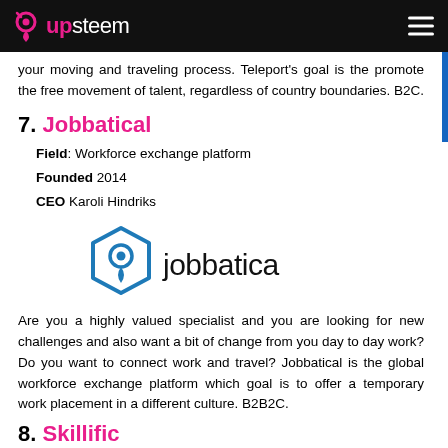upsteem
your moving and traveling process. Teleport's goal is the promote the free movement of talent, regardless of country boundaries. B2C.
7. Jobbatical
Field: Workforce exchange platform
Founded 2014
CEO Karoli Hindriks
[Figure (logo): Jobbatica logo with hexagonal location pin icon and 'jobbatica' wordmark in dark text]
Are you a highly valued specialist and you are looking for new challenges and also want a bit of change from you day to day work? Do you want to connect work and travel? Jobbatical is the global workforce exchange platform which goal is to offer a temporary work placement in a different culture. B2B2C.
8. Skillific